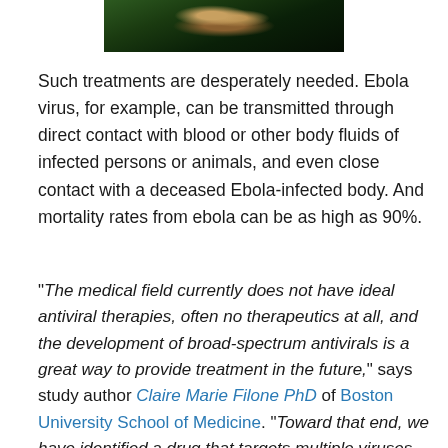[Figure (photo): Photo of people, partially visible at top of page, dark green/nature background]
Such treatments are desperately needed. Ebola virus, for example, can be transmitted through direct contact with blood or other body fluids of infected persons or animals, and even close contact with a deceased Ebola-infected body. And mortality rates from ebola can be as high as 90%.
“The medical field currently does not have ideal antiviral therapies, often no therapeutics at all, and the development of broad-spectrum antivirals is a great way to provide treatment in the future,” says study author Claire Marie Filone PhD of Boston University School of Medicine. “Toward that end, we have identified a drug that targets multiple viruses – and may be developed into an antiviral treatment for known and emerging viruses.”